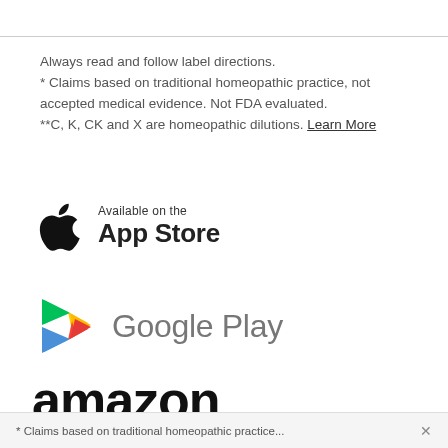Always read and follow label directions.
* Claims based on traditional homeopathic practice, not accepted medical evidence. Not FDA evaluated.
**C, K, CK and X are homeopathic dilutions. Learn More
[Figure (logo): Apple App Store badge showing Apple logo icon on left with text 'Available on the' above 'App Store' in bold]
[Figure (logo): Google Play logo showing colorful play triangle icon on left with 'Google Play' text in gray]
[Figure (logo): Amazon logo showing 'amazon' in bold black text with orange arrow smile beneath it]
* Claims based on traditional homeopathic practice...